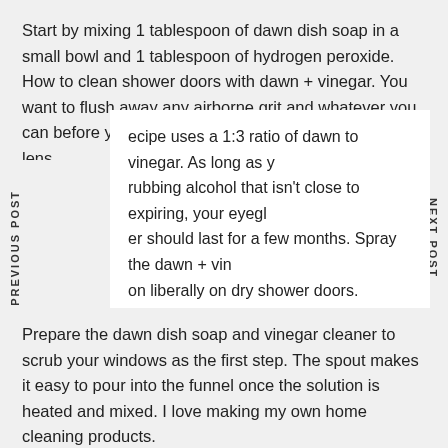Start by mixing 1 tablespoon of dawn dish soap in a small bowl and 1 tablespoon of hydrogen peroxide. How to clean shower doors with dawn + vinegar. You want to flush away any airborne grit and whatever you can before you start actually cleaning the lens.
recipe uses a 1:3 ratio of dawn to vinegar. As long as y rubbing alcohol that isn't close to expiring, your eyegl er should last for a few months. Spray the dawn + vin on liberally on dry shower doors.

ver, blue dawn is one of the best cleaners. You can us egee or scrub brush to apply the. Rinse the lenses bef you wash them with cleaner.
Prepare the dawn dish soap and vinegar cleaner to scrub your windows as the first step. The spout makes it easy to pour into the funnel once the solution is heated and mixed. I love making my own home cleaning products.